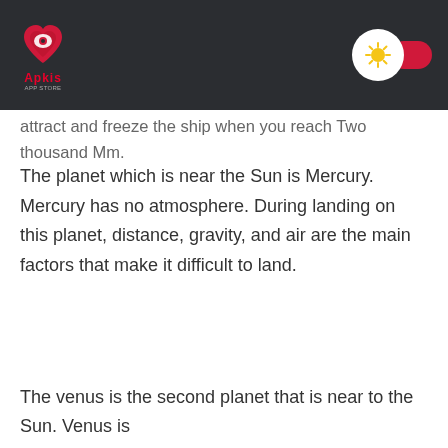Apkis [logo header with app icon and toggle]
attract and freeze the ship when you reach Two thousand Mm.
The planet which is near the Sun is Mercury. Mercury has no atmosphere. During landing on this planet, distance, gravity, and air are the main factors that make it difficult to land.
The venus is the second planet that is near to the Sun. Venus is